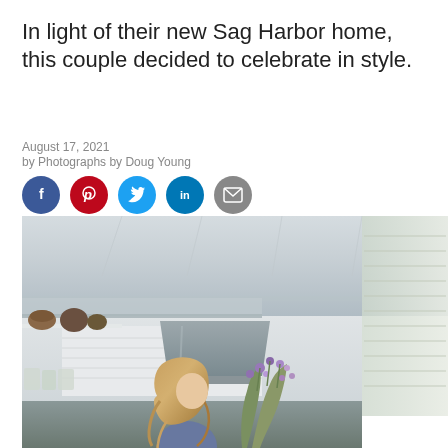In light of their new Sag Harbor home, this couple decided to celebrate in style.
August 17, 2021
by Photographs by Doug Young
[Figure (other): Social media sharing icons: Facebook (blue circle with f), Pinterest (red circle with P), Twitter (light blue circle with bird), LinkedIn (blue circle with in), Email (gray circle with envelope)]
[Figure (photo): Interior kitchen photo showing a woman with blonde wavy hair arranging flowers at a kitchen island. A stainless steel range hood is visible in the center. White open shelves with pottery and bowls are on the left. A window with roman shades is on the right. The ceiling has white painted exposed beams.]